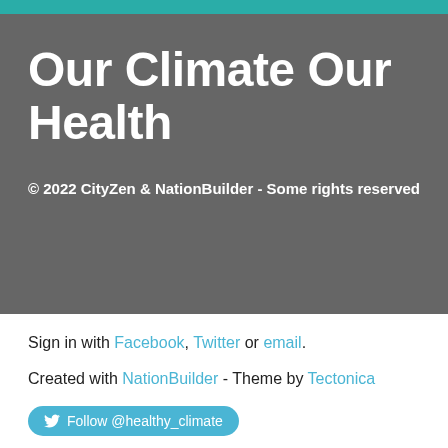Our Climate Our Health
© 2022 CityZen & NationBuilder - Some rights reserved
Sign in with Facebook, Twitter or email.
Created with NationBuilder - Theme by Tectonica
Follow @healthy_climate